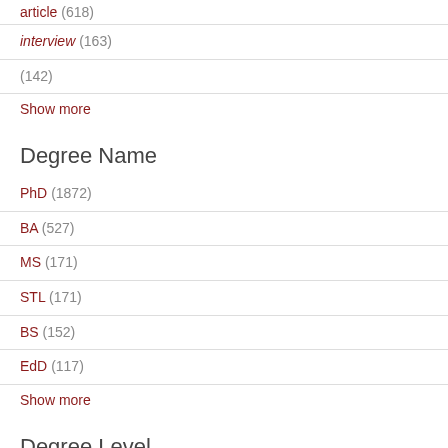article (618)
interview (163)
(142)
Show more
Degree Name
PhD (1872)
BA (527)
MS (171)
STL (171)
BS (152)
EdD (117)
Show more
Degree Level
Doctoral (2017)
Bachelors (682)
Masters (268)
Licentiate (170)